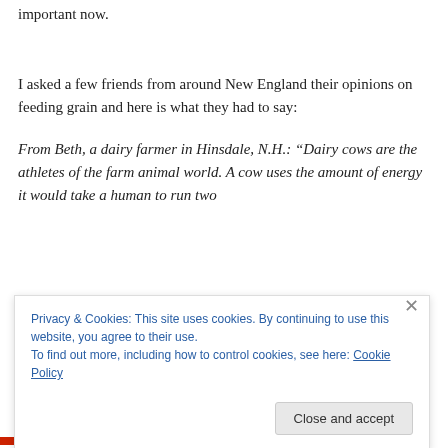important now.
I asked a few friends from around New England their opinions on feeding grain and here is what they had to say:
From Beth, a dairy farmer in Hinsdale, N.H.: “Dairy cows are the athletes of the farm animal world. A cow uses the amount of energy it would take a human to run two
Privacy & Cookies: This site uses cookies. By continuing to use this website, you agree to their use.
To find out more, including how to control cookies, see here: Cookie Policy
Close and accept